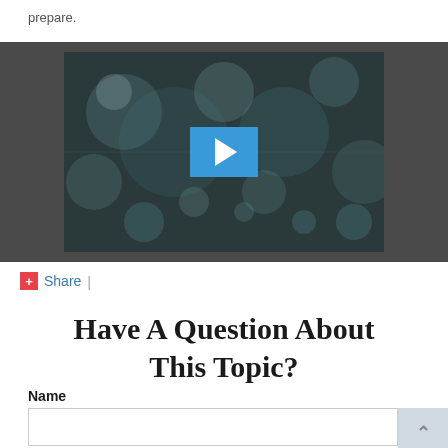prepare.
[Figure (screenshot): Video player thumbnail showing dark blurry bokeh background with a blue play button in the center]
Share |
Have A Question About This Topic?
Name
[Figure (other): Empty text input field for Name]